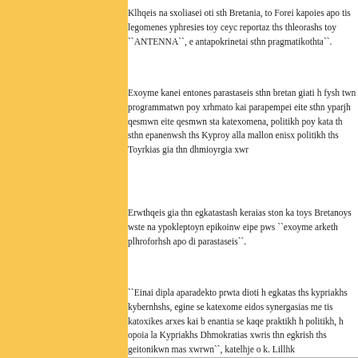Klhqeis na sxoliasei oti sth Bretania, to Forei kapoies apo tis legomenes yphresies toy ceyd reportaz ths thleorashs toy ``ANTENNA``, e antapokrinetai sthn pragmatikothta``.
Exoyme kanei entones parastaseis sthn bretan giati h fysh twn programmatwn poy xrhmato kai parapempei eite sthn yparjh qesmwn eite qesmwn sta katexomena, politikh poy kata th sthn epanenwsh ths Kyproy alla mallon enisx politikh ths Toyrkias gia thn dhmioyrgia xwr
Erwthqeis gia thn egkatastash keraias ston ka toys Bretanoys wste na ypokleptoyn epikoinw eipe pws ``exoyme arketh plhroforhsh apo di parastaseis``.
``Einai dipla aparadekto prwta dioti h egkatas ths kypriakhs kybernhshs, egine se katexome eidos synergasias me tis katoxikes arxes kai b enantia se kaqe praktikh h politikh, h opoia la Kypriakhs Dhmokratias xwris thn egkrish ths geitonikwn mas xwrwn``, katelhje o k. Lillhk